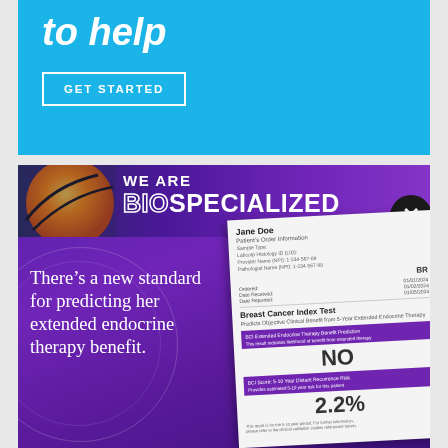to help
GET STARTED
[Figure (infographic): Hologic advertisement: WE ARE BIOSPECIALIZED banner with purple gradient background, orange/black ball image, close button, Hologic logo, text reading 'There's a new standard for predicting her extended endocrine therapy benefit.' alongside a Breast Cancer Index Test report card showing NO and 2.2% results.]